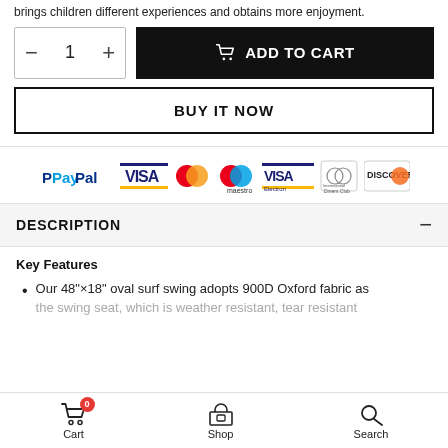brings children different experiences and obtains more enjoyment.
[Figure (screenshot): E-commerce product page showing quantity selector with minus/plus buttons and ADD TO CART button]
[Figure (screenshot): BUY IT NOW button]
[Figure (infographic): Payment logos: PayPal, Visa, Mastercard, Maestro, Visa Electron, Diners Club International, Discover]
DESCRIPTION
Key Features
Our 48"×18" oval surf swing adopts 900D Oxford fabric as the swing seat, which is weather resistant, tear resistant
Cart  Shop  Search